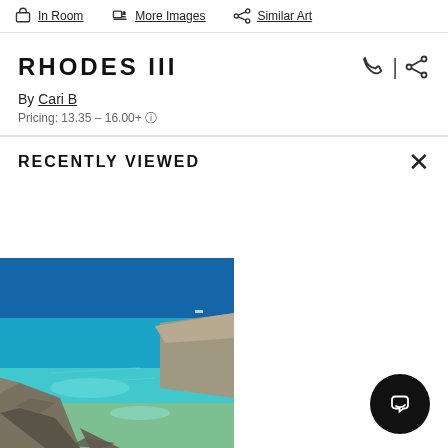In Room | More Images | Similar Art
RHODES III
By Cari B
Pricing: 13.35 – 16.00+
RECENTLY VIEWED
[Figure (photo): Painting of a coastal rocky seascape with clear turquoise and blue water, rocks in foreground and background, Greece / Rhodes seascape artwork by Cari B]